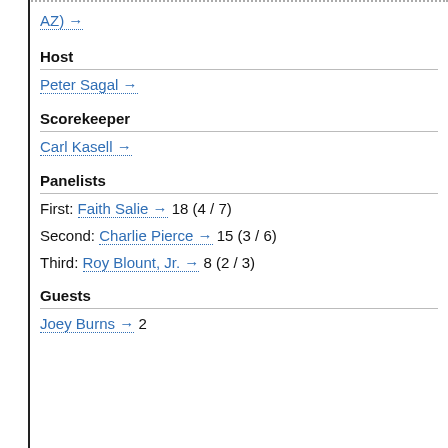AZ) →
Host
Peter Sagal →
Scorekeeper
Carl Kasell →
Panelists
First: Faith Salie → 18 (4 / 7)
Second: Charlie Pierce → 15 (3 / 6)
Third: Roy Blount, Jr. → 8 (2 / 3)
Guests
Joey Burns → 2